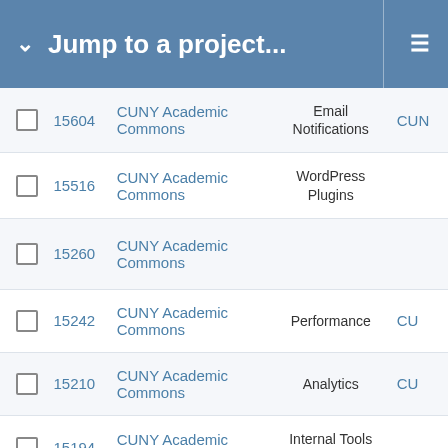Jump to a project...
|  | ID | Project | Label | Abbr |
| --- | --- | --- | --- | --- |
|  | 15604 | CUNY Academic Commons | Email Notifications | CUN |
|  | 15516 | CUNY Academic Commons | WordPress Plugins |  |
|  | 15260 | CUNY Academic Commons |  |  |
|  | 15242 | CUNY Academic Commons | Performance | CU |
|  | 15210 | CUNY Academic Commons | Analytics | CU |
|  | 15194 | CUNY Academic Commons | Internal Tools and Workflow |  |
|  | 15176 | CUNY Academic Commons |  | CU |
|  | 15945 | CUNY Academic Commons |  |  |